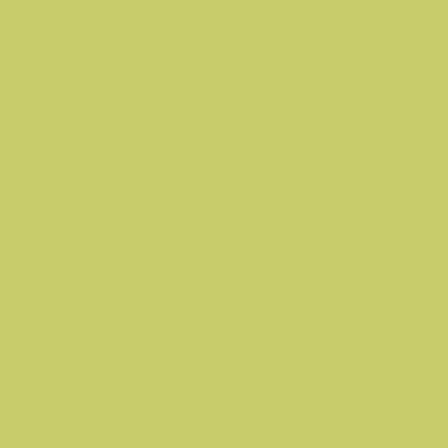soon,' replied Chitling. 'There's nowhere else to go to now, for the people at the Cripples are all in custody, and the bar of the